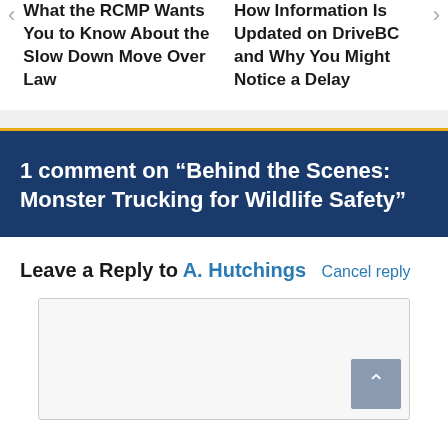What the RCMP Wants You to Know About the Slow Down Move Over Law
How Information Is Updated on DriveBC and Why You Might Notice a Delay
1 comment on “Behind the Scenes: Monster Trucking for Wildlife Safety”
Leave a Reply to A. Hutchings  Cancel reply